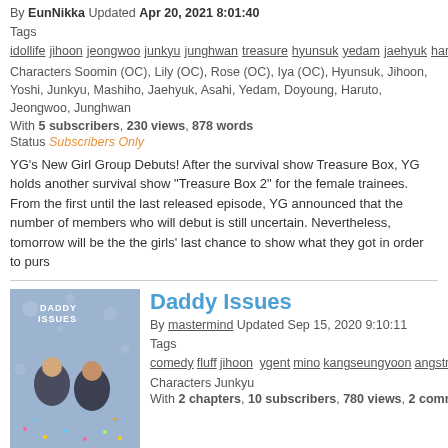By EunNikka Updated Apr 20, 2021 8:01:40
Tags idollife jihoon jeongwoo junkyu junghwan treasure hyunsuk yedam jaehyuk haruto doyoung yoshi treasurebox mashiho asahi treasureau
Characters Soomin (OC), Lily (OC), Rose (OC), Iya (OC), Hyunsuk, Jihoon, Yoshi, Junkyu, Mashiho, Jaehyuk, Asahi, Yedam, Doyoung, Haruto, Jeongwoo, Junghwan
With 5 subscribers, 230 views, 878 words
Status Subscribers Only
YG's New Girl Group Debuts! After the survival show Treasure Box, YG holds another survival show "Treasure Box 2" for the female trainees. From the first until the last released episode, YG announced that the number of members who will debut is still uncertain. Nevertheless, tomorrow will be the the girls' last chance to show what they got in order to purs
[Figure (illustration): Cover image for 'Daddy Issues' story showing two figures against a dark blue bokeh background with colorful confetti, titled DADDY ISSUES]
Daddy Issues
By mastermind Updated Sep 15, 2020 9:10:11
Tags comedy fluff jihoon ygent mino kangseungyoon angstromance junkyu teenromance bxb treasure hyunsuk winner yedam jaehyuk bangyedam haruto magnum treasurebox kimjunkyu mashiho treasure13 asahi yoshinori jihoonxjunkyu
Characters Junkyu
With 2 chapters, 10 subscribers, 780 views, 2 comments, 12260 words